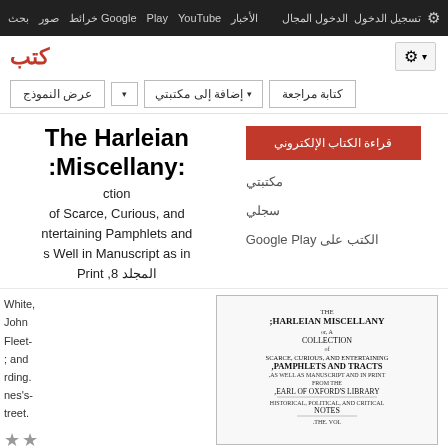بحث صور خرائط Google Play YouTube الأخبار تسجيل الدخول الدواجل⚙
كتب
⚙ ▾  عرض النموذج  إضافة إلى مكتبتي ▾  كتابة مراجعة
The Harleian Miscellany: A Collection of Scarce, Curious, and Entertaining Pamphlets and Tracts, as Well in Manuscript as in Print, المجلد 8
قراءة الكتاب الإلكتروني
مكتبتي
سجلي
الكتب على Google Play
White, John Fleet-; and arding. nes's-treet.
[Figure (illustration): Title page of The Harleian Miscellany book showing text: HARLEIAN MISCELLANY; or, A COLLECTION of SCARCE, CURIOUS, AND ENTERTAINING PAMPHLETS AND TRACTS, AS WELL AS MANUSCRIPT AND IN PRINT, FROM THE EARL OF OXFORD'S LIBRARY, HISTORICAL, POLITICAL, AND CRITICAL NOTES, THE VOL.]